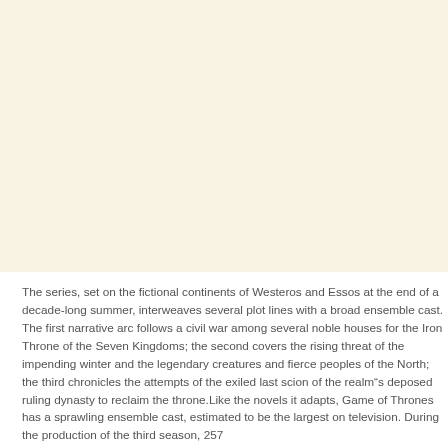[Figure (other): Large cream/beige blank area occupying the upper portion of the page]
The series, set on the fictional continents of Westeros and Essos at the end of a decade-long summer, interweaves several plot lines with a broad ensemble cast. The first narrative arc follows a civil war among several noble houses for the Iron Throne of the Seven Kingdoms; the second covers the rising threat of the impending winter and the legendary creatures and fierce peoples of the North; the third chronicles the attempts of the exiled last scion of the realm"s deposed ruling dynasty to reclaim the throne.Like the novels it adapts, Game of Thrones has a sprawling ensemble cast, estimated to be the largest on television. During the production of the third season, 257...